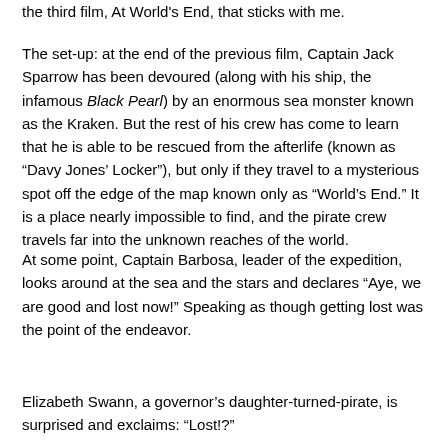the third film, At World's End, that sticks with me.
The set-up: at the end of the previous film, Captain Jack Sparrow has been devoured (along with his ship, the infamous Black Pearl) by an enormous sea monster known as the Kraken. But the rest of his crew has come to learn that he is able to be rescued from the afterlife (known as “Davy Jones’ Locker”), but only if they travel to a mysterious spot off the edge of the map known only as “World’s End.” It is a place nearly impossible to find, and the pirate crew travels far into the unknown reaches of the world.
At some point, Captain Barbosa, leader of the expedition, looks around at the sea and the stars and declares “Aye, we are good and lost now!” Speaking as though getting lost was the point of the endeavor.
Elizabeth Swann, a governor’s daughter-turned-pirate, is surprised and exclaims: “Lost!?”